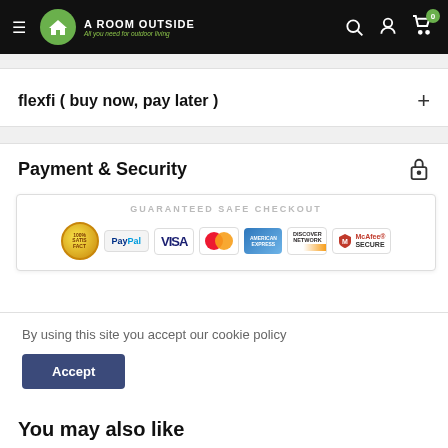A ROOM OUTSIDE — All you need for outdoor living
flexfi ( buy now, pay later )
Payment & Security
[Figure (infographic): Guaranteed Safe Checkout badge with payment logos: 100% Satisfaction, PayPal, VISA, MasterCard, American Express, Discover Network, McAfee SECURE]
By using this site you accept our cookie policy
Accept
You may also like